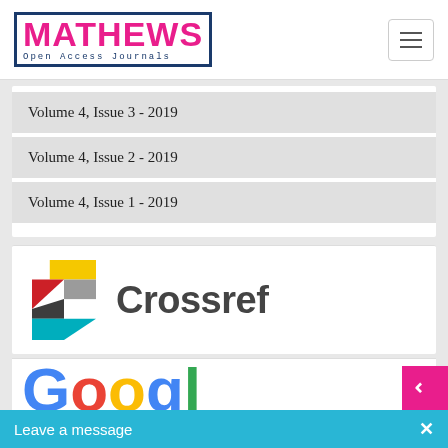[Figure (logo): Mathews Open Access Journals logo with pink text and dark blue border, plus hamburger menu icon]
Volume 4, Issue 3 - 2019
Volume 4, Issue 2 - 2019
Volume 4, Issue 1 - 2019
[Figure (logo): Crossref logo with colorful geometric arrow icon and 'Crossref' wordmark in gray]
[Figure (logo): Google logo partially visible at bottom of page]
Leave a message  ×